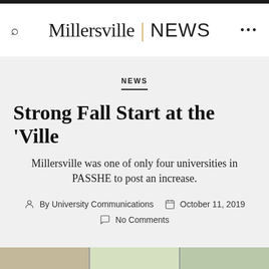Millersville | NEWS
NEWS
Strong Fall Start at the 'Ville
Millersville was one of only four universities in PASSHE to post an increase.
By University Communications   October 11, 2019
No Comments
[Figure (photo): Partial photo strip at bottom of page showing campus buildings/trees]